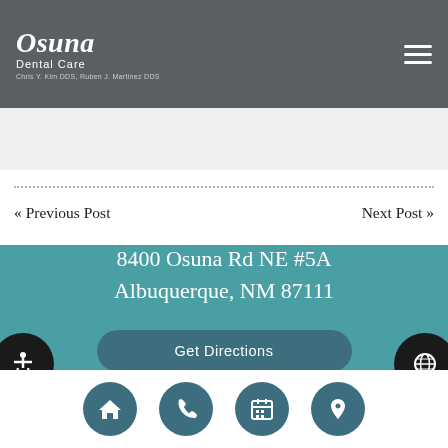Osuna Dental Care — Chris Y. Kim DDS, Ruben J. Martinez DDS
« Previous Post
Next Post »
8400 Osuna Rd NE #5A
Albuquerque, NM 87111
Get Directions